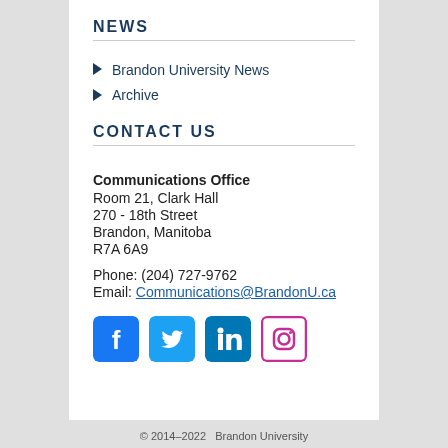NEWS
Brandon University News
Archive
CONTACT US
Communications Office
Room 21, Clark Hall
270 - 18th Street
Brandon, Manitoba
R7A 6A9

Phone: (204) 727-9762
Email: Communications@BrandonU.ca
[Figure (other): Social media icons row: Facebook (dark blue), Twitter (light blue), LinkedIn (teal/blue), Instagram (pink/magenta)]
© 2014–2022  Brandon University